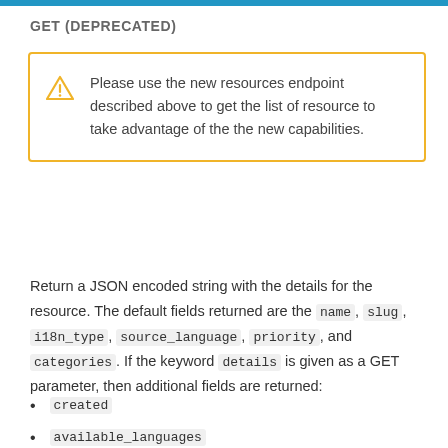GET (DEPRECATED)
Please use the new resources endpoint described above to get the list of resource to take advantage of the the new capabilities.
Return a JSON encoded string with the details for the resource. The default fields returned are the name, slug, i18n_type, source_language, priority, and categories. If the keyword details is given as a GET parameter, then additional fields are returned:
created
available_languages